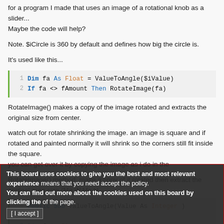for a program I made that uses an image of a rotational knob as a slider...
Maybe the code will help?
Note. $iCircle is 360 by default and defines how big the circle is.
It's used like this...
[Figure (screenshot): Code block with 2 lines: 1: Dim fa As Float = ValueToAngle($iValue)  2: If fa <> fAmount Then RotateImage(fa)]
RotateImage() makes a copy of the image rotated and extracts the original size from center.
watch out for rotate shrinking the image. an image is square and if rotated and painted normally it will shrink so the corners still fit inside the square.
you can get over it by copying the image as i do in the RotateImage() method. make a copy of it rotated then extract the original area size (Me.W,Me.H...
[Figure (screenshot): Code block partially visible: 1: Public Sub ValueToAngle(Value As Integer)  2: (blank)  3: Dim f As Float]
This board uses cookies to give you the best and most relevant experience means that you need accept the policy. You can find out more about the cookies used on this board by clicking the of the page. [I accept]